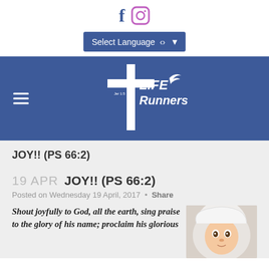[Figure (logo): Facebook and Instagram social media icons]
[Figure (other): Select Language dropdown button in blue]
[Figure (logo): Life Runners logo with cross on blue banner, hamburger menu icon]
JOY!! (PS 66:2)
19 APR JOY!! (PS 66:2)
Posted on Wednesday 19 April, 2017 • Share
Shout joyfully to God, all the earth, sing praise to the glory of his name; proclaim his glorious
[Figure (photo): A baby with wide eyes wearing a white hooded towel, looking up]